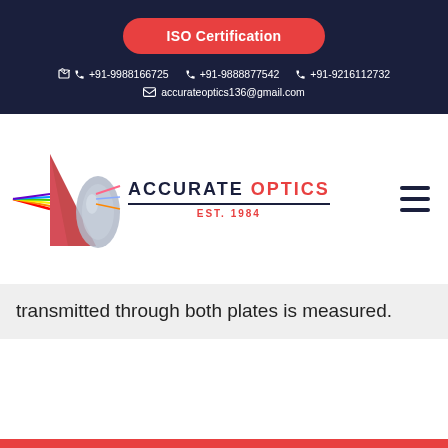ISO Certification
+91-9988166725   +91-9888877542   +91-9216112732
accurateoptics136@gmail.com
[Figure (logo): Accurate Optics logo with prism and lens graphic, EST. 1984]
transmitted through both plates is measured.